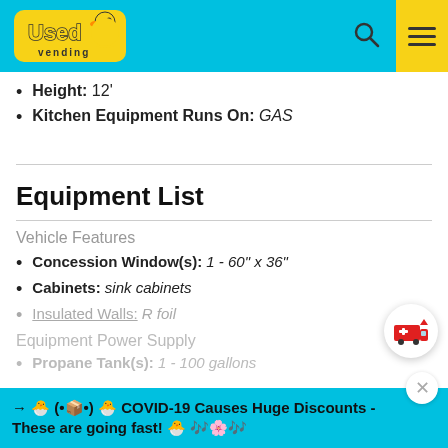Used Vending
Height: 12'
Kitchen Equipment Runs On: GAS
Equipment List
Vehicle Features
Concession Window(s): 1 - 60" x 36"
Cabinets: sink cabinets
Insulated Walls: R foil
Equipment Power Supply
Propane Tank(s): 1 - 100 gallons
→ 🐥 (•📦•) 🐥 COVID-19 Causes Huge Discounts - These are going fast! 🐥 🎶🌸🎶